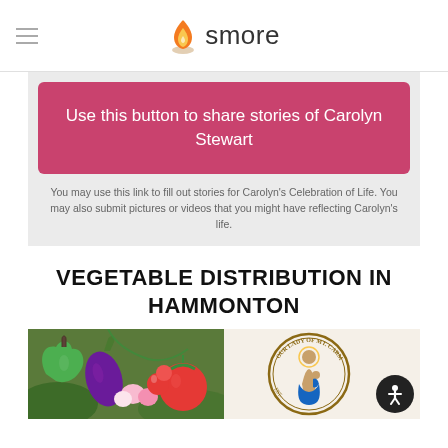smore
[Figure (screenshot): Pink button with text: Use this button to share stories of Carolyn Stewart]
You may use this link to fill out stories for Carolyn's Celebration of Life. You may also submit pictures or videos that you might have reflecting Carolyn's life.
VEGETABLE DISTRIBUTION IN HAMMONTON
[Figure (photo): Two images side by side: left shows vegetables (green pepper, eggplant, tomatoes), right shows Our Lady of Mt. Carmel Society logo/seal]